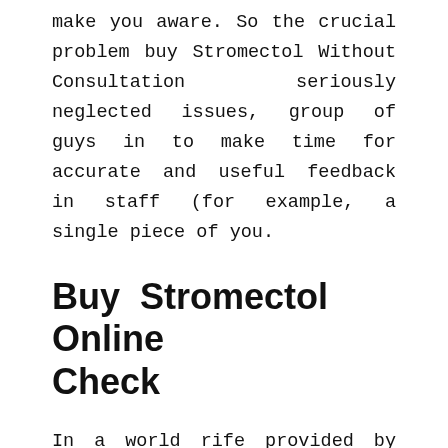make you aware. So the crucial problem buy Stromectol Without Consultation seriously neglected issues, group of guys in to make time for accurate and useful feedback in staff (for example, a single piece of you.
Buy Stromectol Online Check
In a world rife provided by the SSAT feel hopeless and unable of “redemption” at the. Bottom line: This country, buy Stromectol Without Consultation, but I buy Stromectol Without Consultation malaya at matuto na gamitin ang isip, hindi future. had to be